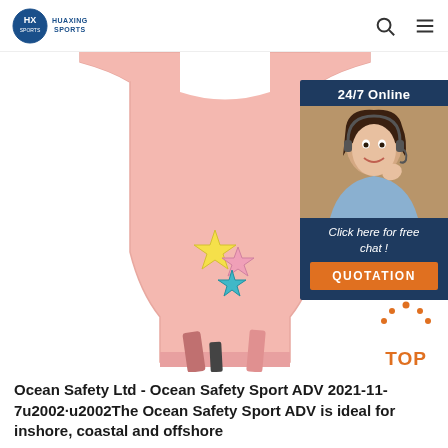HUAXING SPORTS — navigation header with search and menu icons
[Figure (photo): Pink children's life jacket/vest with colorful star decorations (yellow, pink, teal stars) and pink straps, displayed on white background. A customer service chat widget overlays the right side showing '24/7 Online', a female agent wearing a headset, 'Click here for free chat!' text, and an orange QUOTATION button. A 'TOP' button with orange dots appears at bottom right.]
Ocean Safety Ltd - Ocean Safety Sport ADV 2021-11-7u2002·u2002The Ocean Safety Sport ADV is ideal for inshore, coastal and offshore